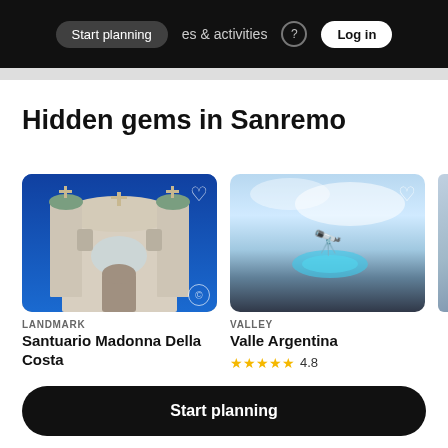Start planning  places & activities  Log in
Hidden gems in Sanremo
[Figure (photo): Photo of Santuario Madonna Della Costa church facade against blue sky]
LANDMARK
Santuario Madonna Della Costa
[Figure (photo): Aerial/landscape photo of Valle Argentina valley with pool of blue water]
VALLEY
Valle Argentina
★★★★★ 4.8
Start planning